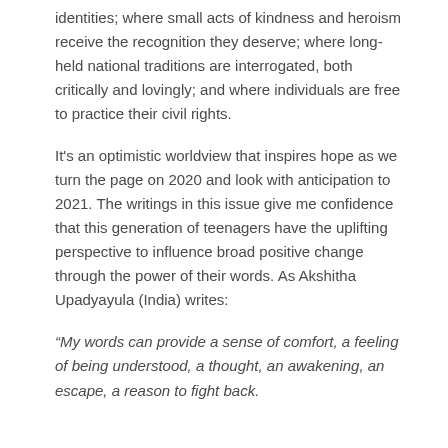identities; where small acts of kindness and heroism receive the recognition they deserve; where long-held national traditions are interrogated, both critically and lovingly; and where individuals are free to practice their civil rights.
It's an optimistic worldview that inspires hope as we turn the page on 2020 and look with anticipation to 2021. The writings in this issue give me confidence that this generation of teenagers have the uplifting perspective to influence broad positive change through the power of their words. As Akshitha Upadyayula (India) writes:
“My words can provide a sense of comfort, a feeling of being understood, a thought, an awakening, an escape, a reason to fight back.